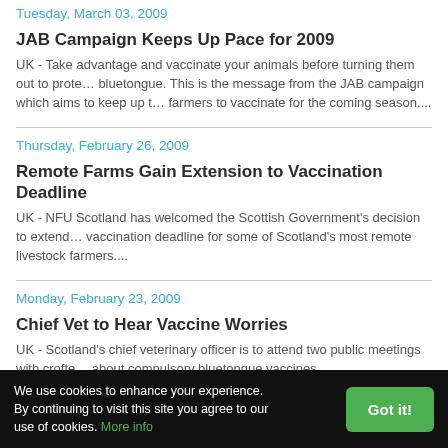Tuesday, March 03, 2009
JAB Campaign Keeps Up Pace for 2009
UK - Take advantage and vaccinate your animals before turning them out to protect against bluetongue. This is the message from the JAB campaign which aims to keep up the pressure on farmers to vaccinate for the coming season....
Thursday, February 26, 2009
Remote Farms Gain Extension to Vaccination Deadline
UK - NFU Scotland has welcomed the Scottish Government's decision to extend the vaccination deadline for some of Scotland's most remote livestock farmers....
Monday, February 23, 2009
Chief Vet to Hear Vaccine Worries
UK - Scotland's chief veterinary officer is to attend two public meetings with crofters about compulsory bluetongue vaccines. ...
Thursday, February 12, 2009
Further Strain in Belgium
We use cookies to enhance your experience. By continuing to visit this site you agree to our use of cookies. More info